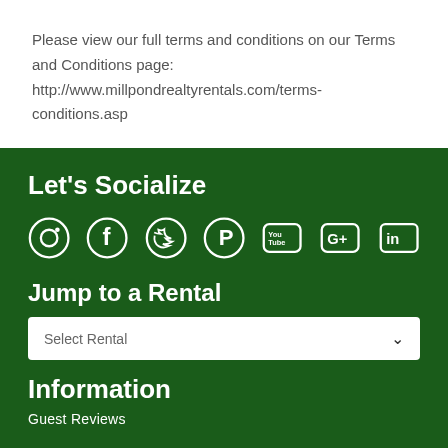Please view our full terms and conditions on our Terms and Conditions page: http://www.millpondrealtyrentals.com/terms-conditions.asp
Let's Socialize
[Figure (infographic): Social media icons: Instagram, Facebook, Twitter, Pinterest, YouTube, Google+, LinkedIn]
Jump to a Rental
Select Rental
Information
Guest Reviews